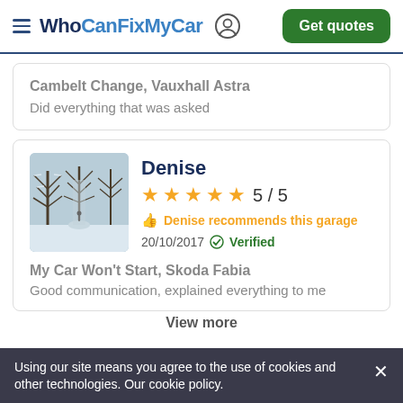WhoCanFixMyCar — Get quotes
Cambelt Change, Vauxhall Astra
Did everything that was asked
Denise
5 / 5
Denise recommends this garage
20/10/2017 Verified
My Car Won't Start, Skoda Fabia
Good communication, explained everything to me
View more
Using our site means you agree to the use of cookies and other technologies. Our cookie policy.